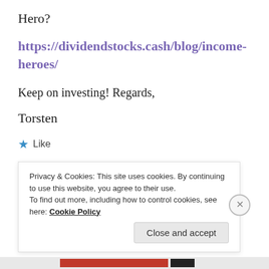Hero?
https://dividendstocks.cash/blog/income-heroes/
Keep on investing! Regards,
Torsten
★ Like
REPLY
Privacy & Cookies: This site uses cookies. By continuing to use this website, you agree to their use.
To find out more, including how to control cookies, see here: Cookie Policy
Close and accept